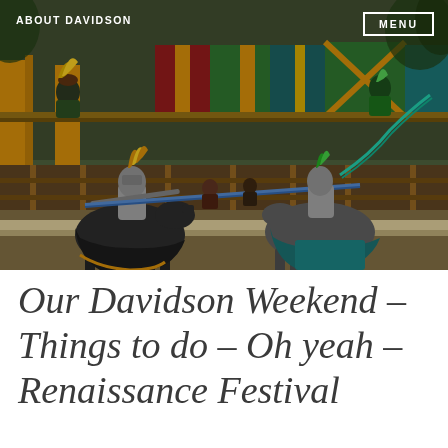ABOUT DAVIDSON | MENU
[Figure (photo): Two jousting knights in full armor on horseback at a Renaissance Festival, with a decorated wooden grandstand in the background filled with spectators in period costumes. One knight wears black and gold, the other teal. Their lances are crossed mid-joust.]
Our Davidson Weekend – Things to do – Oh yeah – Renaissance Festival